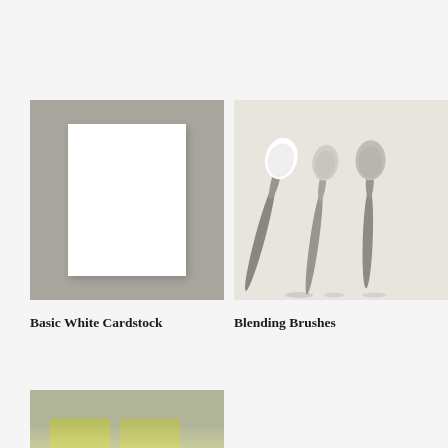[Figure (photo): Basic White Cardstock product image: white card on gray background]
Basic White Cardstock
[Figure (photo): Blending Brushes product image: three spoon-shaped blending brushes on light background]
Blending Brushes
[Figure (photo): Partial product image at bottom left, cut off]